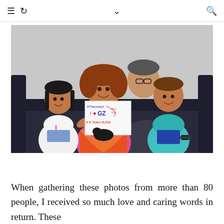≡ ↺   ∨   🔍
[Figure (photo): A family of four sitting on a dark sofa: a woman with curly red-brown hair in the center holding a handwritten sign reading '#Theorem I ❤️ GZ #8 Years #USA', a young girl on the left, a boy in a teal shirt on the right, and a man with glasses behind them. A small dark dog sits in the woman's lap.]
When gathering these photos from more than 80 people, I received so much love and caring words in return. These